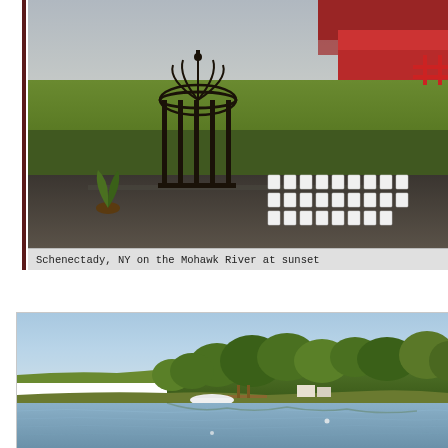[Figure (photo): Outdoor venue scene in Schenectady, NY on the Mohawk River at sunset. Shows a decorative iron gazebo on a patio area, green lawn, white folding chairs arranged in rows, and a red barn/building structure in the background.]
Schenectady, NY on the Mohawk River at sunset
[Figure (photo): Lakeside or riverside scene showing a calm body of water in the foreground with reflections, a wooded shoreline with dense green trees in the middle ground, a small dock with a white boat, and a clear blue sky.]